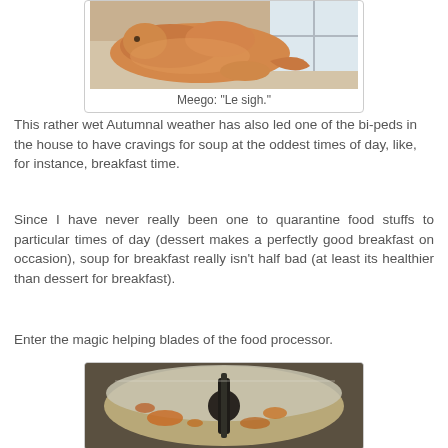[Figure (photo): A ginger/orange cat curled up on a light-colored blanket or towel near a window, looking relaxed and slightly sulky.]
Meego: "Le sigh."
This rather wet Autumnal weather has also led one of the bi-peds in the house to have cravings for soup at the oddest times of day, like, for instance, breakfast time.
Since I have never really been one to quarantine food stuffs to particular times of day (dessert makes a perfectly good breakfast on occasion), soup for breakfast really isn't half bad (at least its healthier than dessert for breakfast).
Enter the magic helping blades of the food processor.
[Figure (photo): A food processor bowl viewed from above, with orange-colored food remnants (soup ingredients) on the blades and bowl interior.]